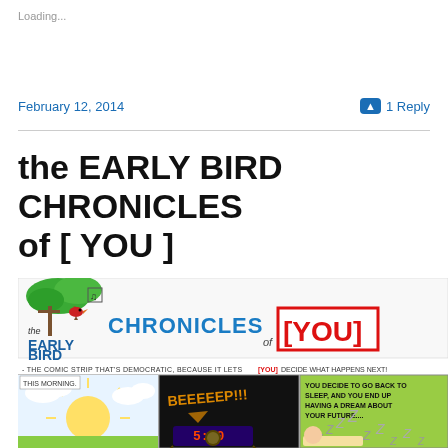Loading...
February 12, 2014
1 Reply
the EARLY BIRD CHRONICLES of [ YOU ]
[Figure (illustration): Comic strip header and panels for 'the EARLY BIRD CHRONICLES of [YOU]' - a democratic comic strip. Header shows title art with a bird on a branch. Subtitle: THE COMIC STRIP THAT'S DEMOCRATIC, BECAUSE IT LETS [YOU] DECIDE WHAT HAPPENS NEXT! Three comic panels shown: morning sunrise, alarm clock beeping (BEEEEEP!!!), and a panel with text 'YOU DECIDE TO GO BACK TO SLEEP, AND YOU END UP HAVING A DREAM ABOUT YOUR FUTURE...' with ZZZ sleep indicators.]